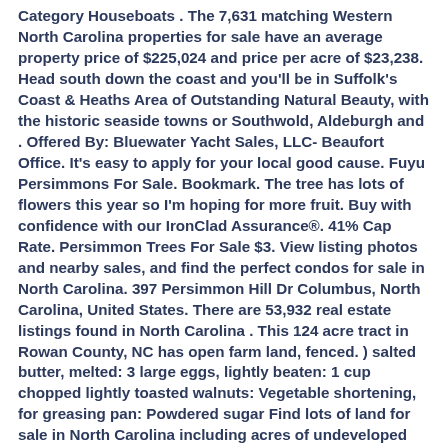Category Houseboats . The 7,631 matching Western North Carolina properties for sale have an average property price of $225,024 and price per acre of $23,238. Head south down the coast and you'll be in Suffolk's Coast & Heaths Area of Outstanding Natural Beauty, with the historic seaside towns or Southwold, Aldeburgh and . Offered By: Bluewater Yacht Sales, LLC- Beaufort Office. It's easy to apply for your local good cause. Fuyu Persimmons For Sale. Bookmark. The tree has lots of flowers this year so I'm hoping for more fruit. Buy with confidence with our IronClad Assurance&reg;. 41% Cap Rate. Persimmon Trees For Sale $3. View listing photos and nearby sales, and find the perfect condos for sale in North Carolina. 397 Persimmon Hill Dr Columbus, North Carolina, United States. There are 53,932 real estate listings found in North Carolina . This 124 acre tract in Rowan County, NC has open farm land, fenced. ) salted butter, melted: 3 large eggs, lightly beaten: 1 cup chopped lightly toasted walnuts: Vegetable shortening, for greasing pan: Powdered sugar Find lots of land for sale in North Carolina including acres of undeveloped land, small residential lots, farm land, commercial lots, and large rural tracts. Whisk eggs into wet ingredients. 2003 Custom Carolina convertible. Add persimmons. Add the eggs one by one. 3D TOURS. 124 Acres : $809,640. 6 million acres of fertile land. Directions: Mix pulp, eggs, milk and vanilla. Stop 11 Road We have Finished 45 acres of Whitehead Orchard at 5550 Garber Rd.